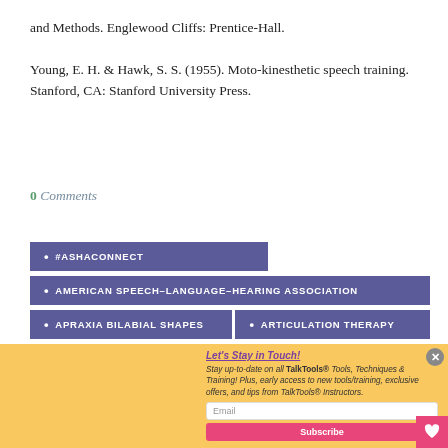and Methods. Englewood Cliffs: Prentice-Hall.
Young, E. H. & Hawk, S. S. (1955). Moto-kinesthetic speech training. Stanford, CA: Stanford University Press.
0 Comments
• #ASHACONNECT
• AMERICAN SPEECH–LANGUAGE–HEARING ASSOCIATION
• APRAXIA BILABIAL SHAPES  • ARTICULATION THERAPY
[Figure (photo): Baby/toddler girl with white bow in hair sitting in blue high chair, smiling, holding a sippy cup]
Let's Stay in Touch! Stay up-to-date on all TalkTools® Tools, Techniques & Training! Plus, early access to new tools/training, exclusive offers, and tips from TalkTools® Instructors. [Email input] [Subscribe button]